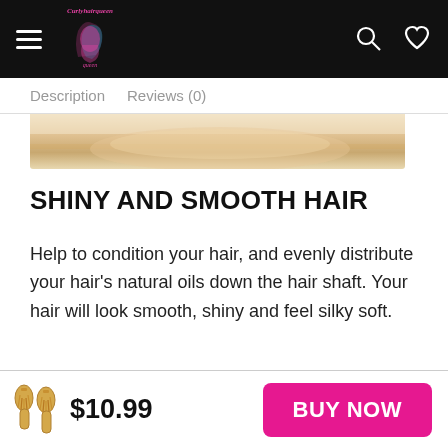CurlyHairQueen — navigation bar with logo, hamburger menu, search and heart icons
Description   Reviews (0)
[Figure (photo): Partial product image showing a person's arm/hair, cropped at top]
SHINY AND SMOOTH HAIR
Help to condition your hair, and evenly distribute your hair's natural oils down the hair shaft. Your hair will look smooth, shiny and feel silky soft.
$10.99   BUY NOW — product price and purchase button with brush icons